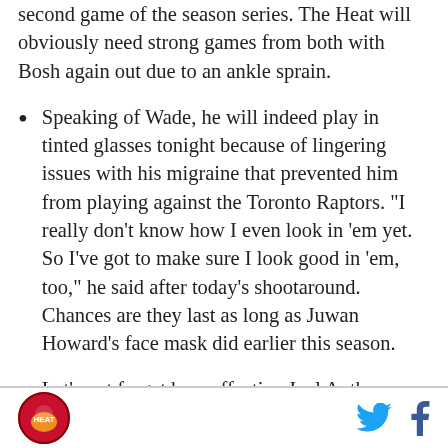second game of the season series. The Heat will obviously need strong games from both with Bosh again out due to an ankle sprain.
Speaking of Wade, he will indeed play in tinted glasses tonight because of lingering issues with his migraine that prevented him from playing against the Toronto Raptors. "I really don't know how I even look in 'em yet. So I've got to make sure I look good in 'em, too," he said after today's shootaround. Chances are they last as long as Juwan Howard's face mask did earlier this season.
Let's not forget how effective Joel Anthony was in guarding Amar'e Stoudemire so far this season. He was the defensive catalyst for the Heat when they
Logo and social media icons (Twitter, Facebook)